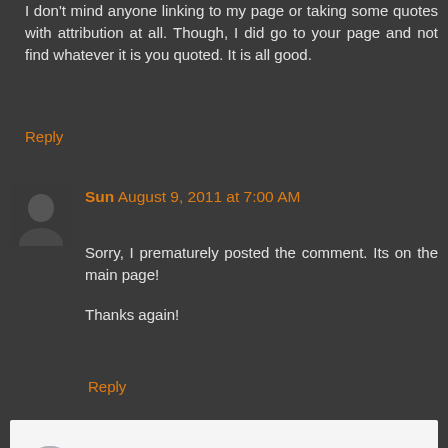I don't mind anyone linking to my page or taking some quotes with attribution at all. Though, I did go to your page and not find whatever it is you quoted. It is all good.
Reply
Sun August 9, 2011 at 7:00 AM
Sorry, I prematurely posted the comment. Its on the main page!

Thanks again!
Reply
Enter Comment
< Home >
View web version